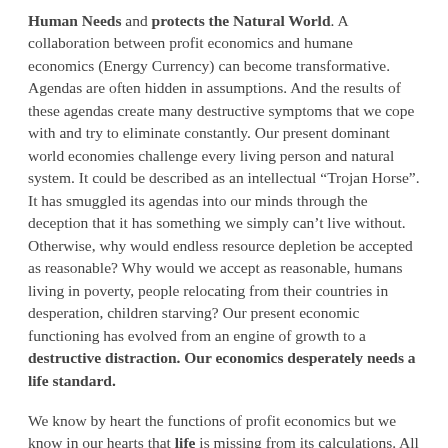Human Needs and protects the Natural World. A collaboration between profit economics and humane economics (Energy Currency) can become transformative.  Agendas are often hidden in assumptions. And the results of these agendas create many destructive symptoms that we cope with and try to eliminate constantly. Our present dominant world economies challenge every living person and natural system. It could be described as an intellectual “Trojan Horse”. It has smuggled its agendas into our minds through the deception that it has something we simply can’t live without. Otherwise, why would endless resource depletion be accepted as reasonable? Why would we accept as reasonable, humans living in poverty, people relocating from their countries in desperation, children starving? Our present economic functioning has evolved from an engine of growth to a destructive distraction. Our economics desperately needs a life standard.
We know by heart the functions of profit economics but we know in our hearts that life is missing from its calculations. All life, not just human life. The goal of an Energy Currency Economy is to value and protect human life so that we can then be empowered to protect all life. As more stress (the corona virus), is placed on our present unequal socio/economic systems its weaknesses